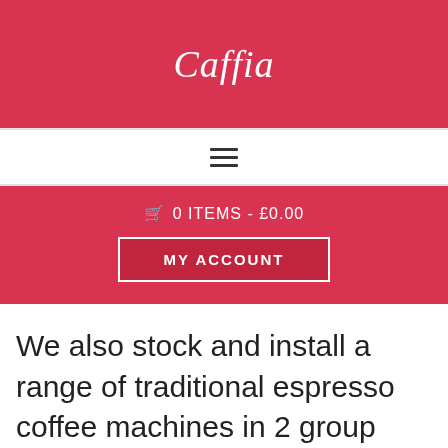[Figure (logo): Caffia script logo in white on red background]
[Figure (other): Hamburger navigation menu icon (three horizontal lines) on white bar]
🛒 0 ITEMS - £0.00
MY ACCOUNT
We also stock and install a range of traditional espresso coffee machines in 2 group and 3 group format from both Esprezzi and Royal Synchro in a range of